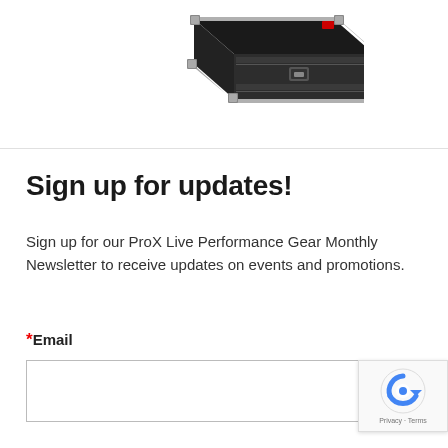[Figure (photo): Product photo of a black road/rack case with silver corner hardware and latches, viewed from a slight angle above]
Sign up for updates!
Sign up for our ProX Live Performance Gear Monthly Newsletter to receive updates on events and promotions.
*Email
[Figure (other): reCAPTCHA badge with Privacy and Terms links]